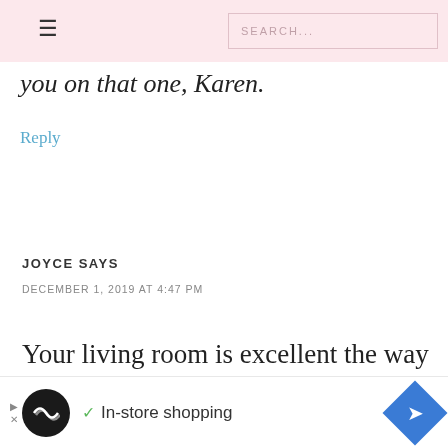SEARCH...
you on that one, Karen.
Reply
JOYCE SAYS
DECEMBER 1, 2019 AT 4:47 PM
Your living room is excellent the way it is, Chelsea, and I very much like the contrast of
[Figure (infographic): Ad banner with circular logo, checkmark, In-store shopping text, and blue diamond arrow icon]